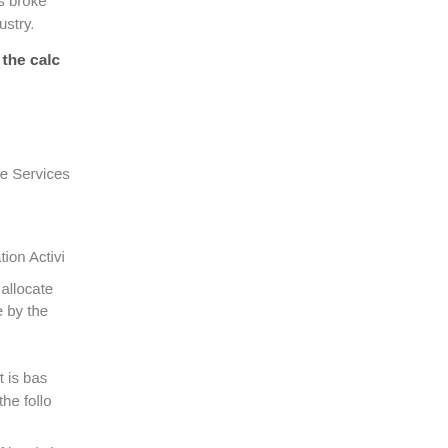total spend of an event is broken down to be attributed to each industry.
Industries included in the calc
Food Retailing
Other Retailing
Accommodation
Food and Beverage Services
Road Transport
Arts and Heritage
Sports and Recreation Activi
The proportion of spend allocated event which is determine by the
Event Significance
The significance of event is based be classified into one of the follo
Local - An event of local sign Hills Shire Council and the m
Region - An event of region